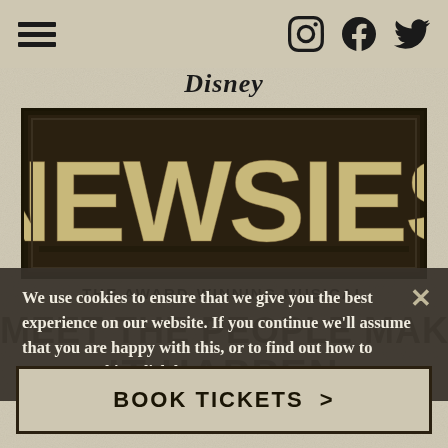[Figure (screenshot): Navigation bar with hamburger menu and social media icons (Instagram, Facebook, Twitter)]
[Figure (logo): Disney Newsies - The Award-Winning Musical logo with distressed letterpress NEWSIES text on dark background]
THE AWARD-WINNING MUSICAL
We use cookies to ensure that we give you the best experience on our website. If you continue we'll assume that you are happy with this, or to find out how to manage cookies click here.
BOOK TICKETS >